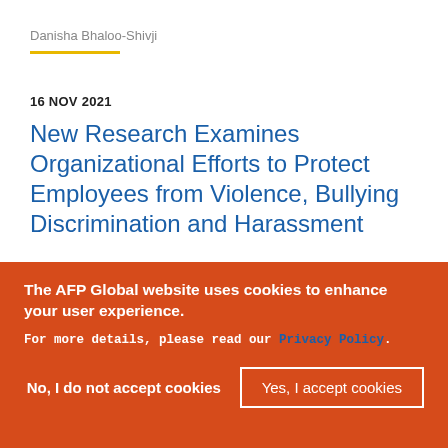Danisha Bhaloo-Shivji
16 NOV 2021
New Research Examines Organizational Efforts to Protect Employees from Violence, Bullying Discrimination and Harassment
The AFP Global website uses cookies to enhance your user experience.
For more details, please read our Privacy Policy.
No, I do not accept cookies
Yes, I accept cookies